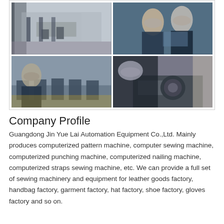[Figure (photo): Four-photo grid showing a manufacturing facility: top-left shows a factory floor with workers and workbenches; top-right shows two workers in face masks examining equipment; bottom-left shows a row of industrial sewing machines with a masked worker; bottom-right shows a close-up of a masked worker repairing/assembling a sewing machine.]
Company Profile
Guangdong Jin Yue Lai Automation Equipment Co.,Ltd. Mainly produces computerized pattern machine, computer sewing machine, computerized punching machine, computerized nailing machine, computerized straps sewing machine, etc. We can provide a full set of sewing machinery and equipment for leather goods factory, handbag factory, garment factory, hat factory, shoe factory, gloves factory and so on.